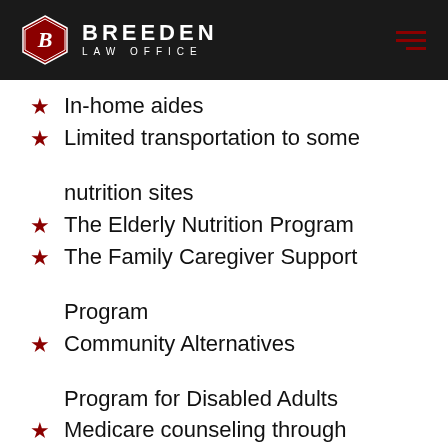BREEDEN LAW OFFICE
In-home aides
Limited transportation to some nutrition sites
The Elderly Nutrition Program
The Family Caregiver Support Program
Community Alternatives Program for Disabled Adults
Medicare counseling through the Seniors' Health Insurance